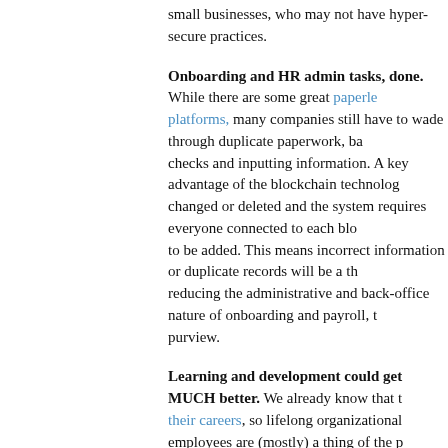small businesses, who may not have hyper-secure practices.
Onboarding and HR admin tasks, done. While there are some great paperless platforms, many companies still have to wade through duplicate paperwork, background checks and inputting information. A key advantage of the blockchain technology is data cannot be changed or deleted and the system requires everyone connected to each block to approve data to be added. This means incorrect information or duplicate records will be a thing of the past, reducing the administrative and back-office nature of onboarding and payroll, to name a few within its purview.
Learning and development could get MUCH better. We already know that the younger workforce prioritizes their careers, so lifelong organizational employees are (mostly) a thing of the past. This makes it key for employers to figure out how to educate their employees. The old adage "What if we spend all this money training them and then they leave?" (followed by the equally tedious rebuttal, What if we spend all this time and money training them and they stay?) is finally answered with blockchain learning programs and skills verification could follow the candidate, whether they're an employee or not.
Yay! We might ACTUALLY reduce hiring bias for 'realsies.' In our current system, candidates have little control over who sees their information, picture, profile, resume, etc. With candidates owning their own blockchain, not only is it possible to protect certain parts of a candidates profile, but also a step taken by the employer to prevent bias and hire solely based on skills. Race, age, and gender can be removed from the search, allowing even unconscious biases to be prevented.
An easier way to diversify your workforce, especially if you work in healthcare or government. Sourcing and recruiting continue to move at the same pace they have for awhile, but it would be exponentially faster to check if a candidate is qualified, figure out if they're a